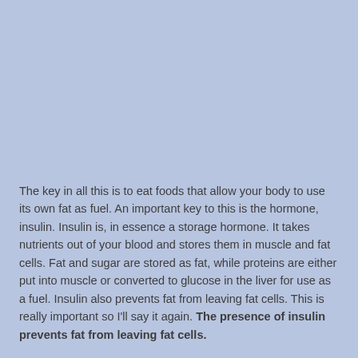The key in all this is to eat foods that allow your body to use its own fat as fuel. An important key to this is the hormone, insulin. Insulin is, in essence a storage hormone. It takes nutrients out of your blood and stores them in muscle and fat cells. Fat and sugar are stored as fat, while proteins are either put into muscle or converted to glucose in the liver for use as a fuel. Insulin also prevents fat from leaving fat cells. This is really important so I'll say it again. The presence of insulin prevents fat from leaving fat cells.
So, in general terms, carbohydrates, especially sugars and highly processed flours induce your body to release insulin.